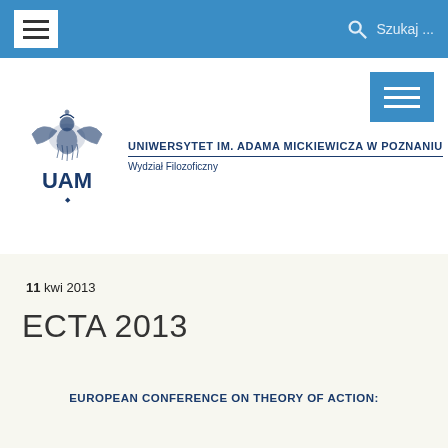Szukaj ...
[Figure (logo): UAM eagle emblem and UAM text logo with university name Uniwersytet im. Adama Mickiewicza w Poznaniu, Wydział Filozoficzny]
11 kwi 2013
ECTA 2013
EUROPEAN CONFERENCE ON THEORY OF ACTION: